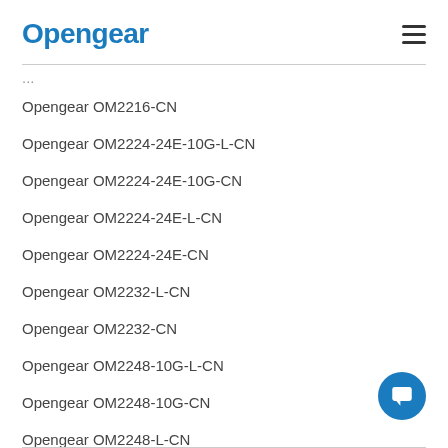Opengear
Opengear OM2216-CN
Opengear OM2224-24E-10G-L-CN
Opengear OM2224-24E-10G-CN
Opengear OM2224-24E-L-CN
Opengear OM2224-24E-CN
Opengear OM2232-L-CN
Opengear OM2232-CN
Opengear OM2248-10G-L-CN
Opengear OM2248-10G-CN
Opengear OM2248-L-CN
Opengear OM2248-CN